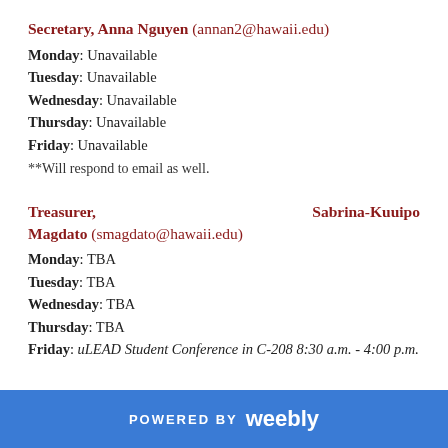Secretary, Anna Nguyen (annan2@hawaii.edu)
Monday: Unavailable
Tuesday: Unavailable
Wednesday: Unavailable
Thursday: Unavailable
Friday: Unavailable
**Will respond to email as well.
Treasurer, Sabrina-Kuuipo Magdato (smagdato@hawaii.edu)
Monday: TBA
Tuesday: TBA
Wednesday: TBA
Thursday: TBA
Friday: uLEAD Student Conference in C-208 8:30 a.m. - 4:00 p.m.
POWERED BY weebly